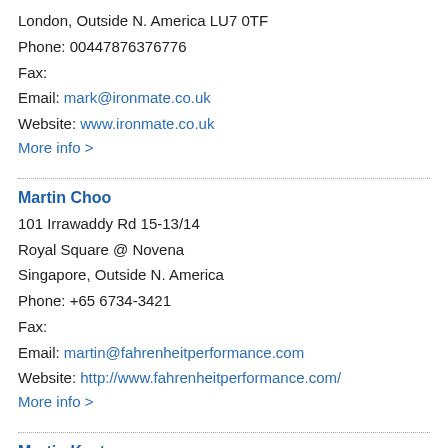London, Outside N. America LU7 0TF
Phone: 00447876376776
Fax:
Email: mark@ironmate.co.uk
Website: www.ironmate.co.uk
More info >
Martin Choo
101 Irrawaddy Rd 15-13/14
Royal Square @ Novena
Singapore, Outside N. America
Phone: +65 6734-3421
Fax:
Email: martin@fahrenheitperformance.com
Website: http://www.fahrenheitperformance.com/
More info >
Martin Kasten